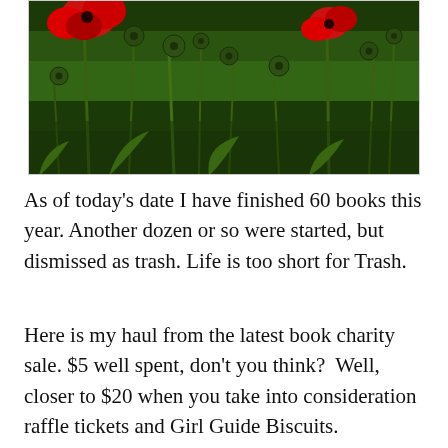[Figure (photo): A field of green plants with red poppy flowers and poppy seed pods visible among dense green foliage]
As of today's date I have finished 60 books this year. Another dozen or so were started, but dismissed as trash. Life is too short for Trash.
Here is my haul from the latest book charity sale. $5 well spent, don't you think?  Well, closer to $20 when you take into consideration raffle tickets and Girl Guide Biscuits.